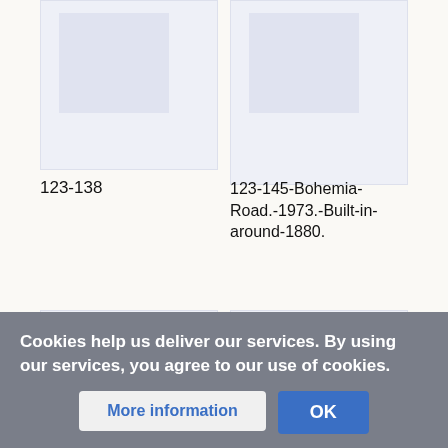[Figure (photo): Top-left image placeholder thumbnail]
[Figure (photo): Top-right image placeholder thumbnail]
123-138
123-145-Bohemia-Road.-1973.-Built-in-around-1880.
[Figure (photo): Bottom-left image placeholder thumbnail]
[Figure (photo): Bottom-right image placeholder thumbnail]
Cookies help us deliver our services. By using our services, you agree to our use of cookies.
More information
OK